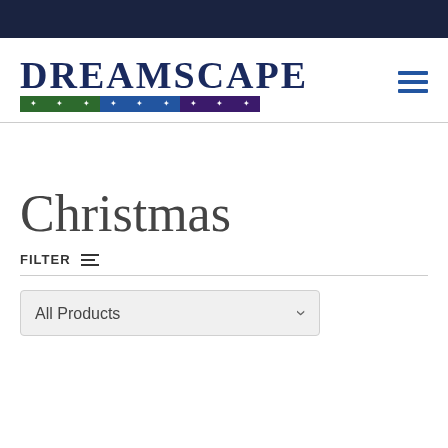[Figure (logo): Dreamscape logo with text in dark navy and a tri-color bar (green, blue, purple) with white stars beneath]
Christmas
FILTER
All Products